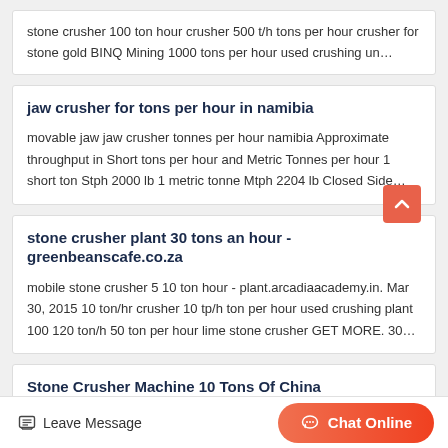stone crusher 100 ton hour crusher 500 t/h tons per hour crusher for stone gold BINQ Mining 1000 tons per hour used crushing un…
jaw crusher for tons per hour in namibia
movable jaw jaw crusher tonnes per hour namibia Approximate throughput in Short tons per hour and Metric Tonnes per hour 1 short ton Stph 2000 lb 1 metric tonne Mtph 2204 lb Closed Side…
stone crusher plant 30 tons an hour - greenbeanscafe.co.za
mobile stone crusher 5 10 ton hour - plant.arcadiaacademy.in. Mar 30, 2015 10 ton/hr crusher 10 tp/h ton per hour used crushing plant 100 120 ton/h 50 ton per hour lime stone crusher GET MORE. 30…
Stone Crusher Machine 10 Tons Of China
Leave Message
Chat Online